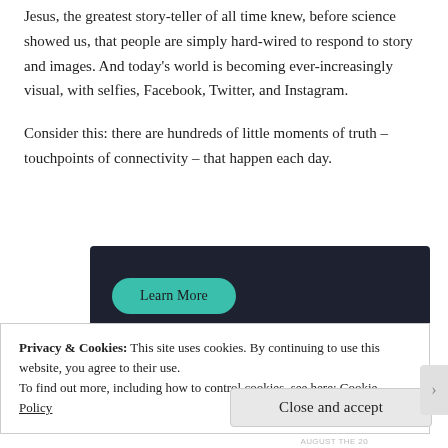Jesus, the greatest story-teller of all time knew, before science showed us, that people are simply hard-wired to respond to story and images. And today's world is becoming ever-increasingly visual, with selfies, Facebook, Twitter, and Instagram.
Consider this: there are hundreds of little moments of truth – touchpoints of connectivity – that happen each day.
[Figure (screenshot): Dark navy/black banner with a teal rounded 'Learn More' button on the left side]
Privacy & Cookies: This site uses cookies. By continuing to use this website, you agree to their use.
To find out more, including how to control cookies, see here: Cookie Policy
Close and accept